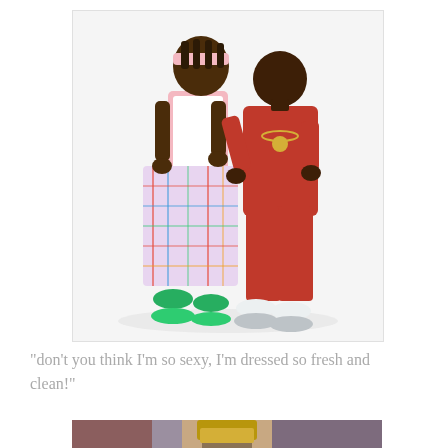[Figure (photo): Two people posing against a white background. The person on the left wears colorful plaid oversized outfit with a pink headband and green shoes. The person on the right wears a red tracksuit with a gold chain necklace.]
"don't you think I'm so sexy, I'm dressed so fresh and clean!"
[Figure (photo): Close-up photo of a bottle of beer or beverage with a dark label, showing the neck and upper body of the bottle with condensation.]